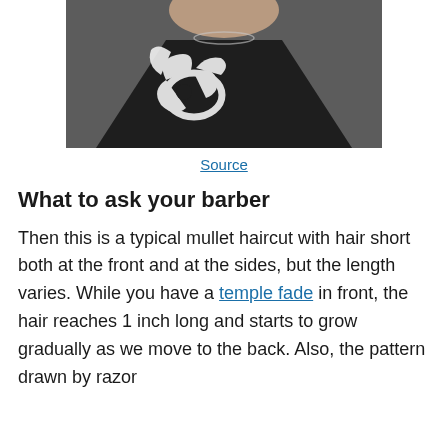[Figure (photo): Person wearing a black barber cape with white tribal/decorative pattern design, sitting in a barber chair, view from chin/neck down showing the cape]
Source
What to ask your barber
Then this is a typical mullet haircut with hair short both at the front and at the sides, but the length varies. While you have a temple fade in front, the hair reaches 1 inch long and starts to grow gradually as we move to the back. Also, the pattern drawn by razor